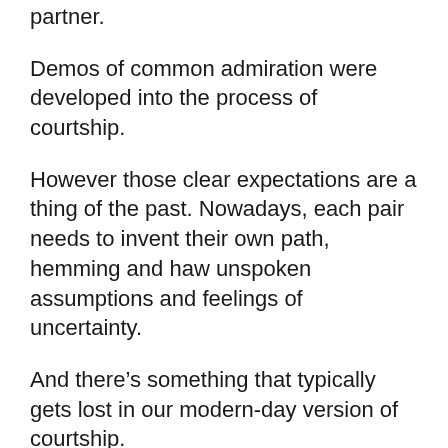partner.
Demos of common admiration were developed into the process of courtship.
However those clear expectations are a thing of the past. Nowadays, each pair needs to invent their own path, hemming and haw unspoken assumptions and feelings of uncertainty.
And there’s something that typically gets lost in our modern-day version of courtship.
I’m speaking about the ancient art of interacting wish via the language of adoration. It’s where the expression, “You have an admirer” originated from.